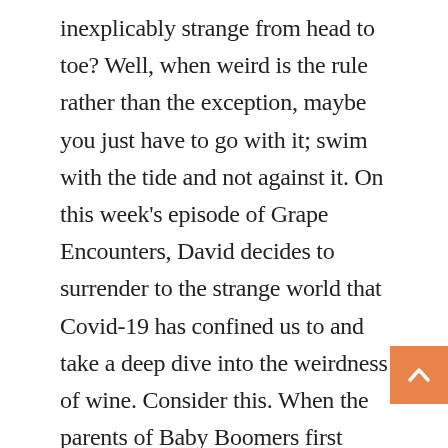inexplicably strange from head to toe? Well, when weird is the rule rather than the exception, maybe you just have to go with it; swim with the tide and not against it. On this week's episode of Grape Encounters, David decides to surrender to the strange world that Covid-19 has confined us to and take a deep dive into the weirdness of wine. Consider this. When the parents of Baby Boomers first began drinking wine, there were just a handful of choices. That was it. You didn't go to a grocery store and have an aisle that had 500 or 1000 wines to choose from. But today, not only do we have those grocery stores, we have package stores, big box stores and online retailers as well; all eager to sell us almost anything imaginable. Yep, these days, it's oh so easy to get off the beaten path and out into the weeds where an